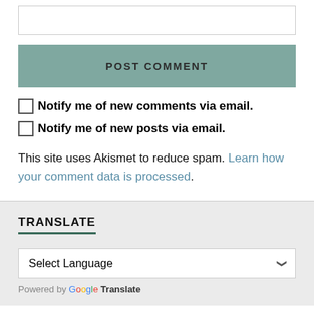[Figure (screenshot): Top portion of a comment form textarea box partially visible]
POST COMMENT
Notify me of new comments via email.
Notify me of new posts via email.
This site uses Akismet to reduce spam. Learn how your comment data is processed.
TRANSLATE
Select Language
Powered by Google Translate